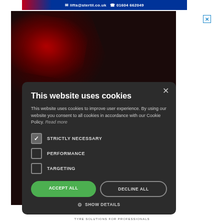[Figure (screenshot): Top advertisement banner with blue background showing email lifts@stertil.co.uk and phone 01604 662049]
[Figure (screenshot): Cookie consent modal overlay on dark red abstract background. Title: This website uses cookies. Body text about cookies. Checkboxes: STRICTLY NECESSARY (checked), PERFORMANCE (unchecked), TARGETING (unchecked). Buttons: ACCEPT ALL (green), DECLINE ALL (outline). SHOW DETAILS link with gear icon.]
[Figure (screenshot): Right side advertisement showing a QR code / target symbol on light blue gradient background]
TYRE SOLUTIONS FOR PROFESSIONALS